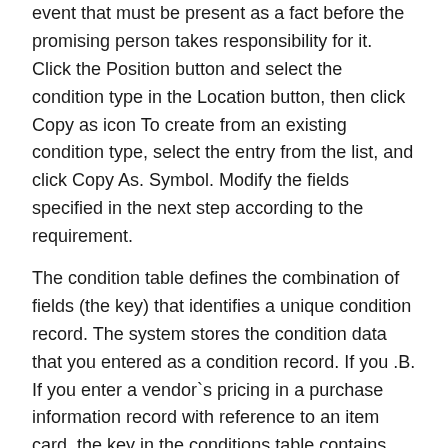event that must be present as a fact before the promising person takes responsibility for it. Click the Position button and select the condition type in the Location button, then click Copy as icon To create from an existing condition type, select the entry from the list, and click Copy As. Symbol. Modify the fields specified in the next step according to the requirement.
The condition table defines the combination of fields (the key) that identifies a unique condition record. The system stores the condition data that you entered as a condition record. If you .B. If you enter a vendor`s pricing in a purchase information record with reference to an item card, the key in the conditions table contains the vendor number and material number. The condition type is a representation of a pricing element. There are types of conditions, for example.B. for discounts, surcharges and transport costs. You use